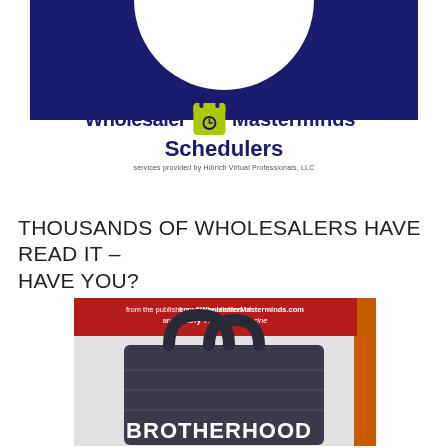[Figure (logo): Wholesaler Masterminds Schedulers logo with dark navy semicircle at top, calendar icon, and text 'Wholesaler Masterminds® Schedulers' with tagline 'services provided by Hibrich Virtual Professionals, LLC']
THOUSANDS OF WHOLESALERS HAVE READ IT – HAVE YOU?
[Figure (photo): Book cover showing a leather bag with title 'BROTHERHOOD' in white text at the bottom. Red banner at top reads 'from the publishers of WholesalerMasterminds.com and I Carry The Bag magazine'. Book has orange spine visible on right side.]